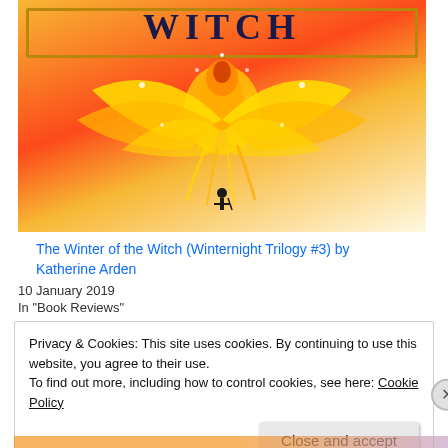[Figure (illustration): Book cover art for 'The Winter of the Witch' showing a glowing phoenix with spread wings in orange and yellow flames, a silhouetted figure below, and the word 'WITCH' visible at the top in a decorative gold-bordered frame.]
The Winter of the Witch (Winternight Trilogy #3) by Katherine Arden
10 January 2019
In "Book Reviews"
Privacy & Cookies: This site uses cookies. By continuing to use this website, you agree to their use.
To find out more, including how to control cookies, see here: Cookie Policy
Close and accept